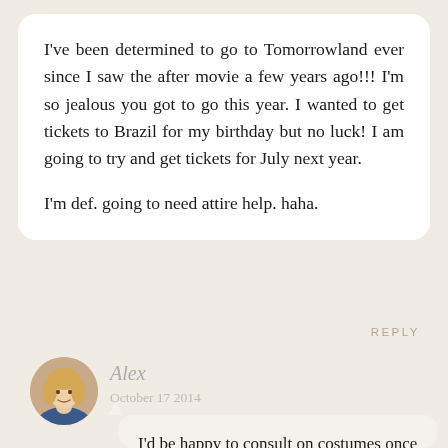I've been determined to go to Tomorrowland ever since I saw the after movie a few years ago!!! I'm so jealous you got to go this year. I wanted to get tickets to Brazil for my birthday but no luck! I am going to try and get tickets for July next year.

I'm def. going to need attire help. haha.
REPLY
[Figure (photo): Circular avatar photo of a blonde woman named Alex]
Alex
October 17 2014
I'd be happy to consult on costumes once you land tickets, Amy 🙂